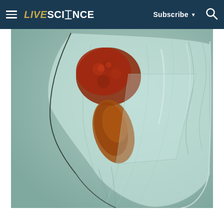LIVESCIENCE | Subscribe | Search
[Figure (photo): Microscope photograph of a single-celled aquatic organism (likely a dinoflagellate or ciliate) under light microscopy. The organism has a translucent, elongated triangular body with a pointed bottom tip. Inside the cell are brown-orange pigmented regions (likely chloroplasts or food vacuoles) concentrated in the upper left portion. The background is a muted teal/gray-green color typical of brightfield microscopy.]